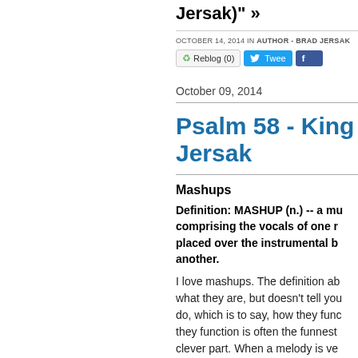Jersak)" »
OCTOBER 14, 2014 IN AUTHOR - BRAD JERSAK
Psalm 58 - King ... Jersak
October 09, 2014
Mashups
Definition: MASHUP (n.) -- a mu... comprising the vocals of one r... placed over the instrumental b... another.
I love mashups. The definition ab... what they are, but doesn't tell yo... do, which is to say, how they func... they function is often the funnest... clever part. When a melody is ve... will come to associate a message... with that melody...